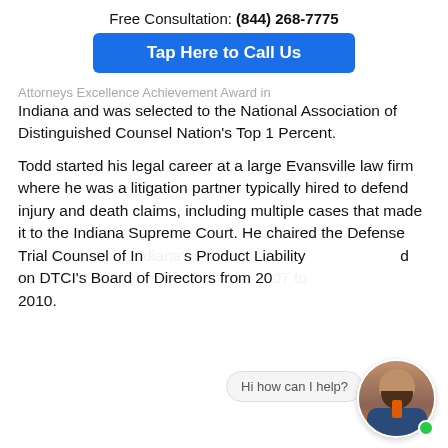Free Consultation: (844) 268-7775
Tap Here to Call Us
Attorneys Excellence Achievement Award in Indiana and was selected to the National Association of Distinguished Counsel Nation's Top 1 Percent.
Todd started his legal career at a large Evansville law firm where he was a litigation partner typically hired to defend injury and death claims, including multiple cases that made it to the Indiana Supreme Court. He chaired the Defense Trial Counsel of Indiana's Product Liability  and served on DTCI's Board of Directors from 2007 to 2010.